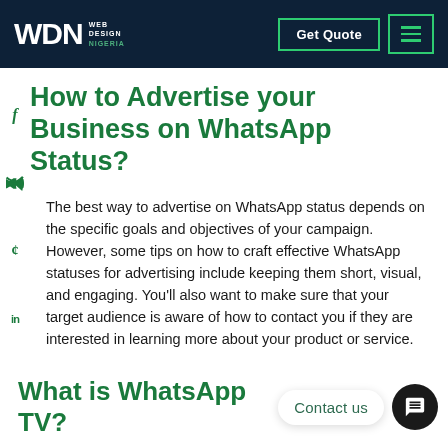WDN WEB DESIGN NIGERIA | Get Quote | Menu
How to Advertise your Business on WhatsApp Status?
The best way to advertise on WhatsApp status depends on the specific goals and objectives of your campaign. However, some tips on how to craft effective WhatsApp statuses for advertising include keeping them short, visual, and engaging. You'll also want to make sure that your target audience is aware of how to contact you if they are interested in learning more about your product or service.
What is WhatsApp TV?